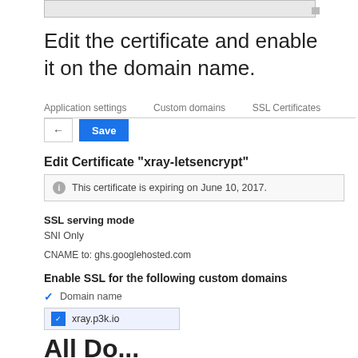[Figure (screenshot): Textarea input stub at the top of the page]
Edit the certificate and enable it on the domain name.
Application settings   Custom domains   SSL Certificates
[Figure (screenshot): Back arrow button and Save button in toolbar]
Edit Certificate "xray-letsencrypt"
This certificate is expiring on June 10, 2017.
SSL serving mode
SNI Only
CNAME to: ghs.googlehosted.com
Enable SSL for the following custom domains
✓  Domain name
☑  xray.p3k.io
All Do...